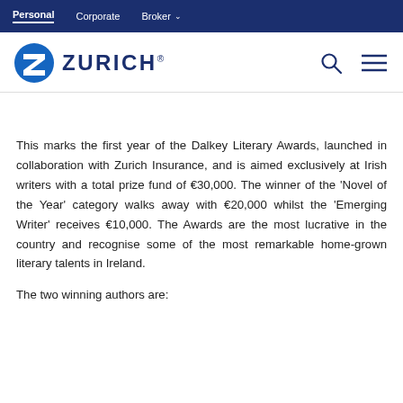Personal  Corporate  Broker
[Figure (logo): Zurich Insurance logo with blue Z circle and ZURICH wordmark]
This marks the first year of the Dalkey Literary Awards, launched in collaboration with Zurich Insurance, and is aimed exclusively at Irish writers with a total prize fund of €30,000. The winner of the 'Novel of the Year' category walks away with €20,000 whilst the 'Emerging Writer' receives €10,000. The Awards are the most lucrative in the country and recognise some of the most remarkable home-grown literary talents in Ireland.
The two winning authors are: